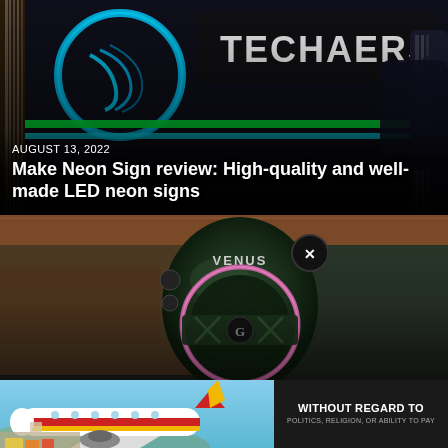[Figure (photo): Techaeres neon sign glowing in blue/green against a dark background with electric guitars on sides]
AUGUST 13, 2022
Make Neon Sign review: High-quality and well-made LED neon signs
[Figure (photo): Venus branded speaker device with circular pink LED ring on a wooden surface]
AUGUST 12, 2022
[Figure (photo): Advertisement banner showing cargo being loaded onto a Southwest Airlines aircraft with text 'WITHOUT REGARD TO POLITICS, RELIGION, OR ABILITY TO PAY']